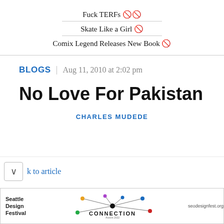Fuck TERFs 🏳️‍⚧️
Skate Like a Girl 🛹
Comix Legend Releases New Book 📚
BLOGS | Aug 11, 2010 at 2:02 pm
No Love For Pakistan
CHARLES MUDEDE
⌄  k to article
[Figure (infographic): Seattle Design Festival CONNECTION ad with network graph dots and lines, seodesignfest.org]